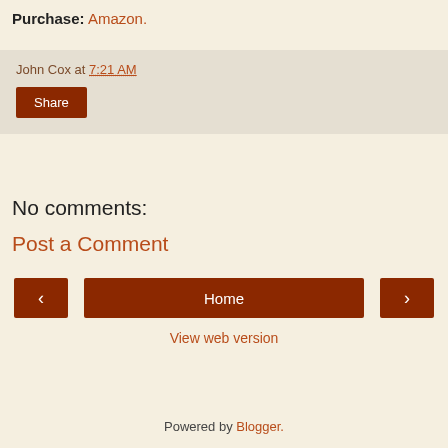Purchase: Amazon.
John Cox at 7:21 AM
Share
No comments:
Post a Comment
‹  Home  ›
View web version
Powered by Blogger.